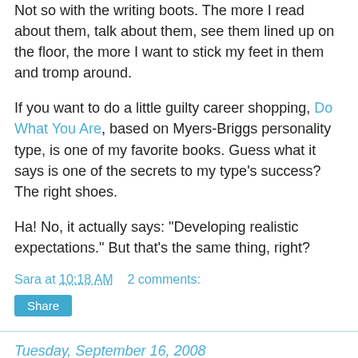Not so with the writing boots. The more I read about them, talk about them, see them lined up on the floor, the more I want to stick my feet in them and tromp around.
If you want to do a little guilty career shopping, Do What You Are, based on Myers-Briggs personality type, is one of my favorite books. Guess what it says is one of the secrets to my type's success? The right shoes.
Ha! No, it actually says: "Developing realistic expectations." But that's the same thing, right?
Sara at 10:18 AM    2 comments:
Share
Tuesday, September 16, 2008
The other pen
Rilke had two pens: one for writing letters and paying bills, and one for his "real work" of poetry and novels. Guess which one was Rilke's other pen...